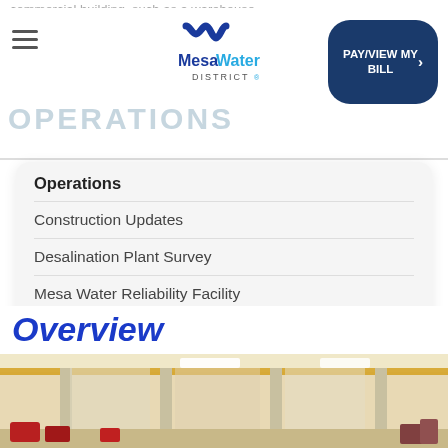commercial building, such as a warehouse.
Mesa Water District — OPERATIONS
Operations
Construction Updates
Desalination Plant Survey
Mesa Water Reliability Facility
Reservoirs
Overview
[Figure (photo): Interior of a large industrial warehouse/facility with white walls, yellow overhead crane rail, columns, and red equipment at the bottom.]